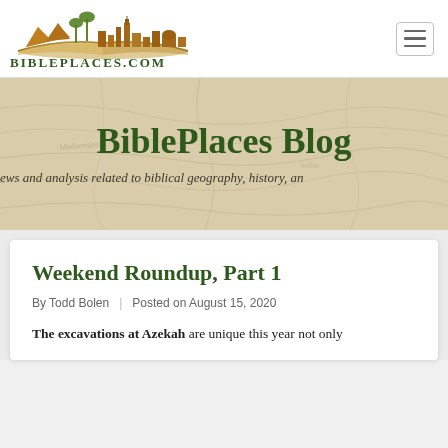[Figure (logo): BiblePlaces.com logo with skyline silhouette of ancient city with palm trees above an open book, in golden/brown tones, with site name in dark green serif capitals below]
BiblePlaces Blog
News and analysis related to biblical geography, history, an...
Weekend Roundup, Part 1
By Todd Bolen | Posted on August 15, 2020
The excavations at Azekah are unique this year not only